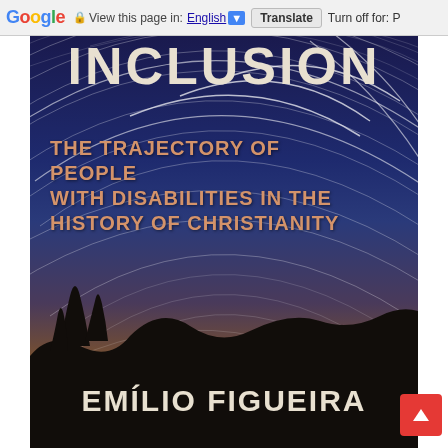Google  View this page in: English [▼]  Translate  Turn off for: P
[Figure (photo): Book cover of 'Inclusion: The Trajectory of People with Disabilities in the History of Christianity' by Emílio Figueira. Background shows a night sky with star trails arcing across a deep blue-purple sky, with a warm orange horizon glow and dark silhouetted hills/trees at the bottom.]
INCLUSION
THE TRAJECTORY OF PEOPLE WITH DISABILITIES IN THE HISTORY OF CHRISTIANITY
EMÍLIO FIGUEIRA